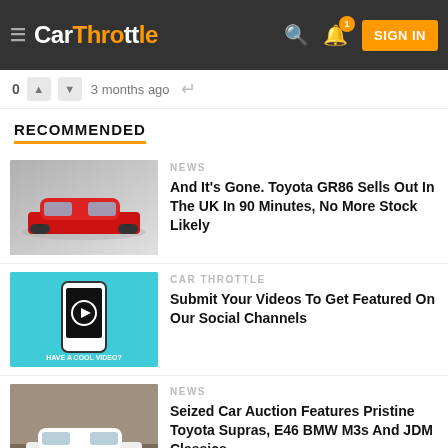CarThrottle — SIGN IN
0  3 months ago
RECOMMENDED
NEWS
And It's Gone. Toyota GR86 Sells Out In The UK In 90 Minutes, No More Stock Likely
CAR THROTTLE
Submit Your Videos To Get Featured On Our Social Channels
NEWS
Seized Car Auction Features Pristine Toyota Supras, E46 BMW M3s And JDM Classics
NEWS
New Aston Martin DBR22 Is A Roofless V12-Powered Beaut...